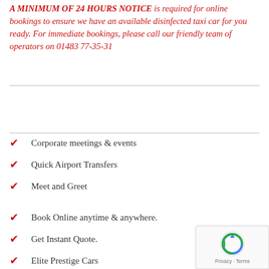A MINIMUM OF 24 HOURS NOTICE is required for online bookings to ensure we have an available disinfected taxi car for you ready. For immediate bookings, please call our friendly team of operators on 01483 77-35-31
Corporate meetings & events
Quick Airport Transfers
Meet and Greet
Book Online anytime & anywhere.
Get Instant Quote.
Elite Prestige Cars